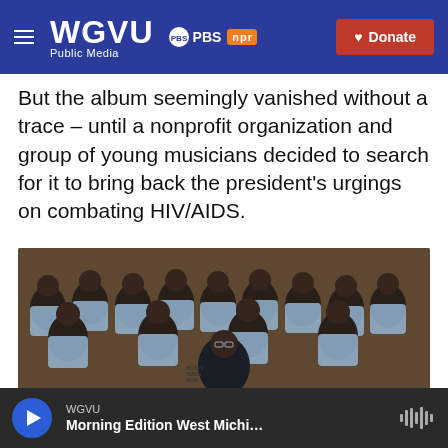WGVU Public Media | PBS | npr | Donate
But the album seemingly vanished without a trace – until a nonprofit organization and group of young musicians decided to search for it to bring back the president's urgings on combating HIV/AIDS.
[Figure (photo): Group photo of a large group of young African musicians/students in light blue shirts surrounding an older man in a dark shirt, in a warmly lit indoor setting.]
WGVU Morning Edition West Michi...